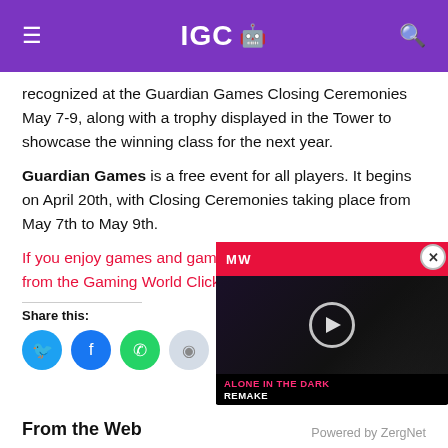IGC 🤖
recognized at the Guardian Games Closing Ceremonies May 7-9, along with a trophy displayed in the Tower to showcase the winning class for the next year.
Guardian Games is a free event for all players. It begins on April 20th, with Closing Ceremonies taking place from May 7th to May 9th.
If you enjoy games and gaming and want more NEWS from the Gaming World Click H...
[Figure (screenshot): Video overlay showing 'ALONE IN THE DARK REMAKE' with red MalWarkes top bar and play button]
Share this:
From the Web
Powered by ZergNet